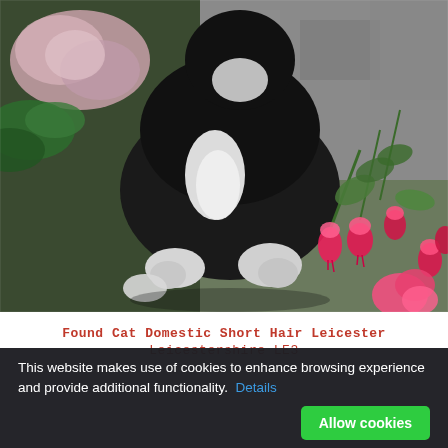[Figure (photo): A black and white tuxedo cat crouching among garden flowers including pink fuchsias and hydrangeas on a stone surface. The cat has white paws and white chest markings.]
Found Cat Domestic Short Hair Leicester
Leicestershire LE3
This website makes use of cookies to enhance browsing experience and provide additional functionality. Details